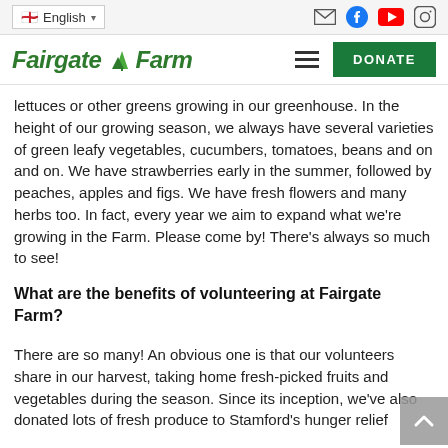English | [mail] [facebook] [youtube] [instagram]
Fairgate Farm | [menu] DONATE
lettuces or other greens growing in our greenhouse. In the height of our growing season, we always have several varieties of green leafy vegetables, cucumbers, tomatoes, beans and on and on. We have strawberries early in the summer, followed by peaches, apples and figs. We have fresh flowers and many herbs too. In fact, every year we aim to expand what we’re growing in the Farm. Please come by! There’s always so much to see!
What are the benefits of volunteering at Fairgate Farm?
There are so many! An obvious one is that our volunteers share in our harvest, taking home fresh-picked fruits and vegetables during the season. Since its inception, we’ve also donated lots of fresh produce to Stamford’s hunger relief